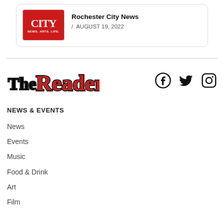[Figure (logo): Rochester City News logo — red rectangle with white text 'CITY NEWS. ARTS. LIFE.']
Rochester City News / AUGUST 19, 2022
[Figure (logo): The Reader logo — black and red stylized text 'TheReader']
[Figure (other): Social media icons: Facebook, Twitter, Instagram]
NEWS & EVENTS
News
Events
Music
Food & Drink
Art
Film